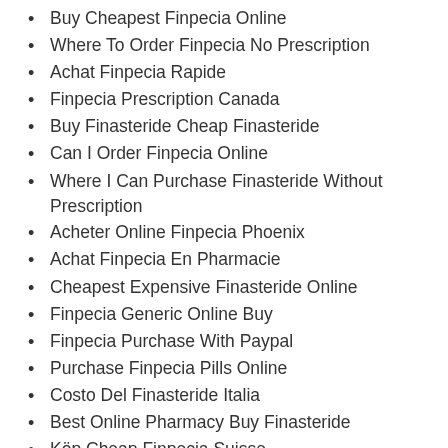Buy Cheapest Finpecia Online
Where To Order Finpecia No Prescription
Achat Finpecia Rapide
Finpecia Prescription Canada
Buy Finasteride Cheap Finasteride
Can I Order Finpecia Online
Where I Can Purchase Finasteride Without Prescription
Acheter Online Finpecia Phoenix
Achat Finpecia En Pharmacie
Cheapest Expensive Finasteride Online
Finpecia Generic Online Buy
Finpecia Purchase With Paypal
Purchase Finpecia Pills Online
Costo Del Finasteride Italia
Best Online Pharmacy Buy Finasteride
Köp Cheap Finpecia Suisse
Finasteride Online Low Cost Generic
Best Place To Order Finpecia Online
Where Can I Get Finpecia Online